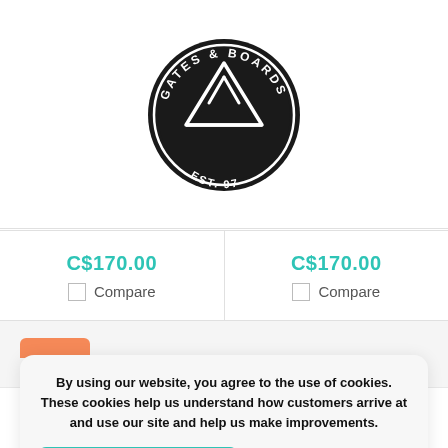[Figure (logo): Gates & Boards circular logo with mountain peak graphic, EST. 97]
C$170.00
Compare
C$170.00
Compare
By using our website, you agree to the use of cookies. These cookies help us understand how customers arrive at and use our site and help us make improvements.
Hide this message
More on cookies »
[Figure (screenshot): Bottom navigation bar with heart/wishlist, account, menu, search, and cart icons]